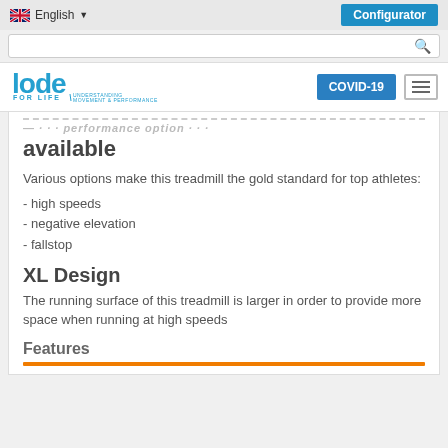English  Configurator
— ... performance option available
Various options make this treadmill the gold standard for top athletes:
- high speeds
- negative elevation
- fallstop
XL Design
The running surface of this treadmill is larger in order to provide more space when running at high speeds
Features